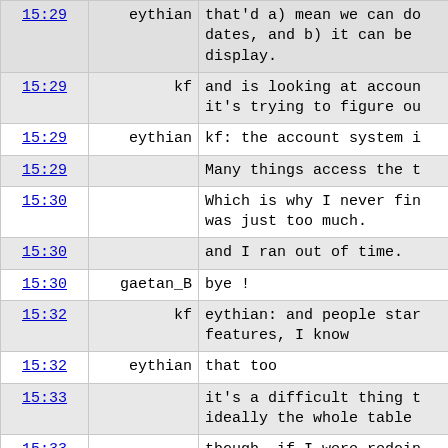| time | user | message |
| --- | --- | --- |
| 15:29 | eythian | that'd a) mean we can do dates, and b) it can be display. |
| 15:29 | kf | and is looking at accoun it's trying to figure ou |
| 15:29 | eythian | kf: the account system i |
| 15:29 |  | Many things access the t |
| 15:30 |  | Which is why I never fin was just too much. |
| 15:30 |  | and I ran out of time. |
| 15:30 | gaetan_B | bye ! |
| 15:32 | kf | eythian: and people star features, I know |
| 15:32 | eythian | that too |
| 15:33 |  | it's a difficult thing t ideally the whole table |
| 15:33 |  | though, if I were redoin |